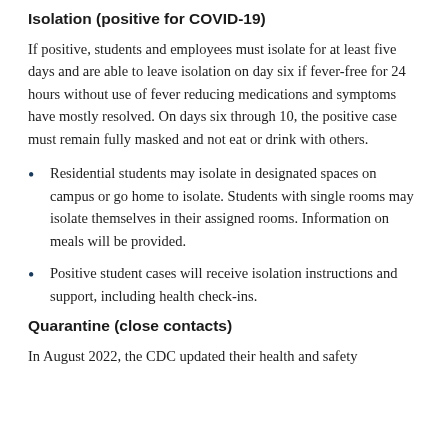Isolation (positive for COVID-19)
If positive, students and employees must isolate for at least five days and are able to leave isolation on day six if fever-free for 24 hours without use of fever reducing medications and symptoms have mostly resolved. On days six through 10, the positive case must remain fully masked and not eat or drink with others.
Residential students may isolate in designated spaces on campus or go home to isolate. Students with single rooms may isolate themselves in their assigned rooms. Information on meals will be provided.
Positive student cases will receive isolation instructions and support, including health check-ins.
Quarantine (close contacts)
In August 2022, the CDC updated their health and safety